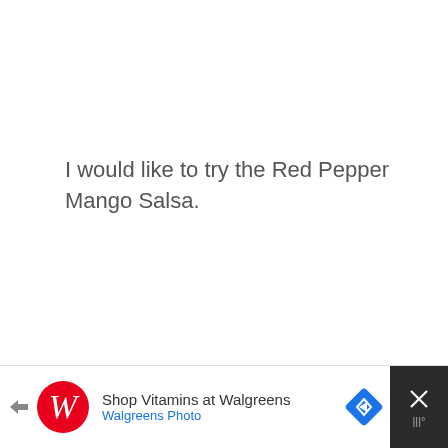I would like to try the Red Pepper Mango Salsa.
Reply
K. CLEAVER
MAY 3, 2013 AT 10:41 PM
I'd like to try the spicy guacamole
[Figure (screenshot): Walgreens advertisement bar at bottom of page with logo, 'Shop Vitamins at Walgreens / Walgreens Photo' text, navigation icon, and close button]